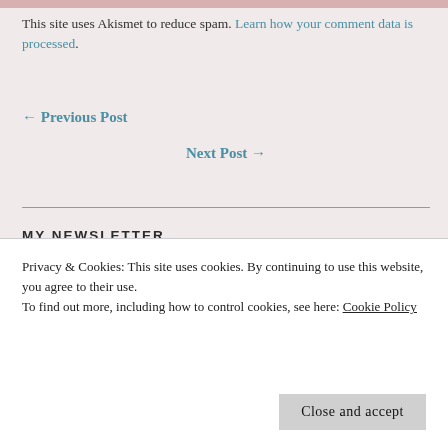This site uses Akismet to reduce spam. Learn how your comment data is processed.
← Previous Post
Next Post →
MY NEWSLETTER
[Figure (illustration): A blue sphere/globe with water bubbles and droplets floating above it, newsletter imagery]
Privacy & Cookies: This site uses cookies. By continuing to use this website, you agree to their use.
To find out more, including how to control cookies, see here: Cookie Policy
Close and accept